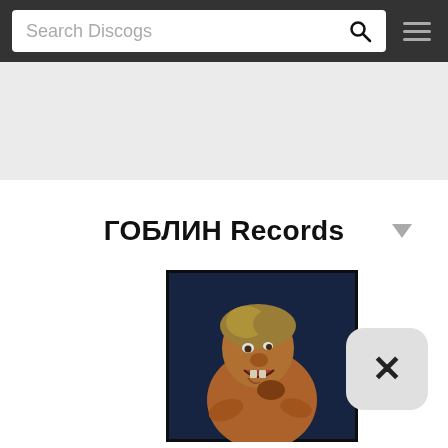Search Discogs
ГОБЛИН Records
[Figure (illustration): Album/label cover art showing a grotesque goblin-like old woman figure holding something, painted in warm orange/brown tones against a blue background, in a dark frame]
[Figure (other): Close/dismiss button — rounded square button with X mark symbol]